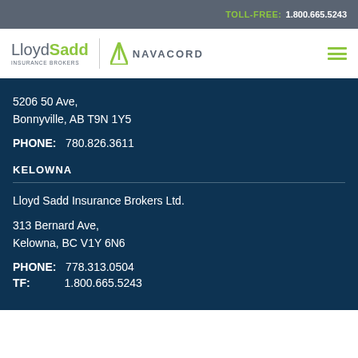TOLL-FREE: 1.800.665.5243
[Figure (logo): LloydSadd Insurance Brokers and Navacord logos with hamburger menu icon]
5206 50 Ave,
Bonnyville, AB T9N 1Y5
PHONE: 780.826.3611
KELOWNA
Lloyd Sadd Insurance Brokers Ltd.
313 Bernard Ave,
Kelowna, BC V1Y 6N6
PHONE: 778.313.0504
TF: 1.800.665.5243